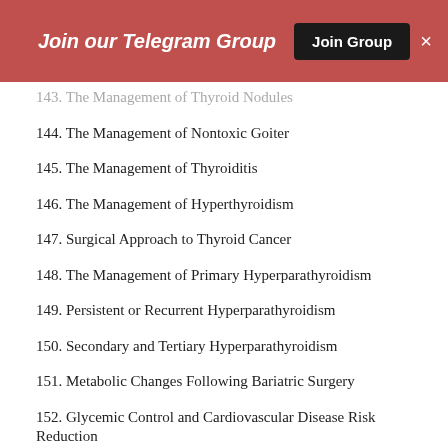Join our Telegram Group  Join Group  ×
143. The Management of Thyroid Nodules
144. The Management of Nontoxic Goiter
145. The Management of Thyroiditis
146. The Management of Hyperthyroidism
147. Surgical Approach to Thyroid Cancer
148. The Management of Primary Hyperparathyroidism
149. Persistent or Recurrent Hyperparathyroidism
150. Secondary and Tertiary Hyperparathyroidism
151. Metabolic Changes Following Bariatric Surgery
152. Glycemic Control and Cardiovascular Disease Risk Reduction